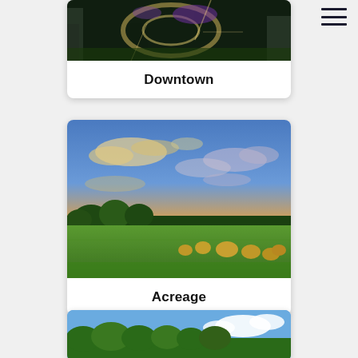[Figure (photo): Aerial view of a downtown area at night with illuminated roundabout and purple lights]
Downtown
[Figure (photo): Rural landscape at sunset with hay bales in a green field under dramatic cloudy sky]
Acreage
[Figure (photo): Green trees under a blue sky with white clouds, partially visible]